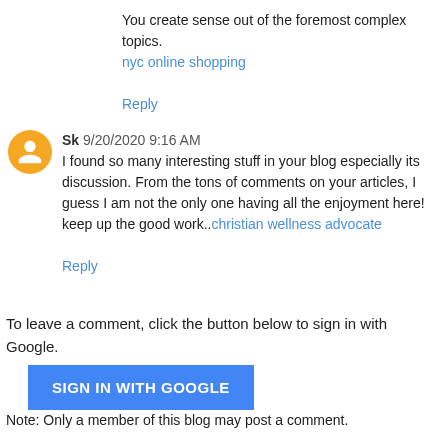You create sense out of the foremost complex topics.
nyc online shopping

Reply
Sk 9/20/2020 9:16 AM
I found so many interesting stuff in your blog especially its discussion. From the tons of comments on your articles, I guess I am not the only one having all the enjoyment here! keep up the good work..christian wellness advocate

Reply
To leave a comment, click the button below to sign in with Google.
[Figure (other): Blue 'SIGN IN WITH GOOGLE' button]
Note: Only a member of this blog may post a comment.